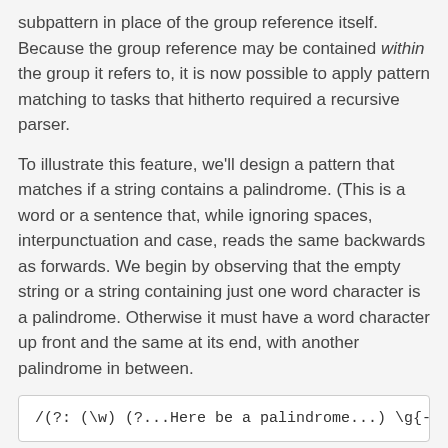subpattern in place of the group reference itself. Because the group reference may be contained within the group it refers to, it is now possible to apply pattern matching to tasks that hitherto required a recursive parser.
To illustrate this feature, we'll design a pattern that matches if a string contains a palindrome. (This is a word or a sentence that, while ignoring spaces, interpunctuation and case, reads the same backwards as forwards. We begin by observing that the empty string or a string containing just one word character is a palindrome. Otherwise it must have a word character up front and the same at its end, with another palindrome in between.
/(?:  (\w) (?...Here be a palindrome...) \g{-1
Adding \W* at either end to eliminate what is to be ignored, we already have the full pattern: